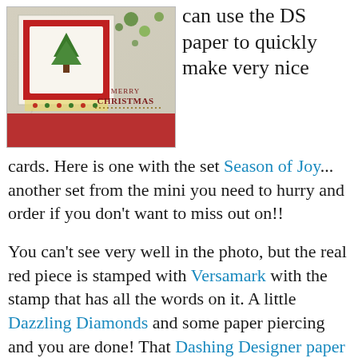[Figure (photo): A handmade Christmas card with a cream/tan background featuring swirl embossing, a red and white layered insert with a Christmas tree image, and 'Merry Christmas' stamped text with dotted border. The card is photographed on a light grey surface.]
can use the DS paper to quickly make very nice cards. Here is one with the set Season of Joy... another set from the mini you need to hurry and order if you don't want to miss out on!!
You can't see very well in the photo, but the real red piece is stamped with Versamark with the stamp that has all the words on it. A little Dazzling Diamonds and some paper piercing and you are done! That Dashing Designer paper is so much fun!! And, did you see I used